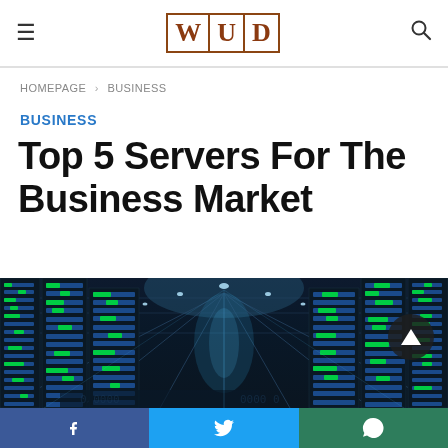WUD
HOMEPAGE > BUSINESS
BUSINESS
Top 5 Servers For The Business Market
[Figure (photo): Data center server room showing rows of server racks with blue and green LED lights, illuminated ceiling, perspective view down corridor]
[Figure (other): Social sharing bar with Facebook, Twitter, and WhatsApp buttons]